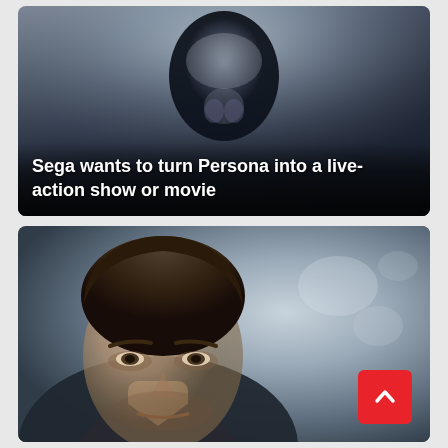[Figure (photo): Dark misty background with a shadowy figure — promotional image for Persona video game franchise]
Sega wants to turn Persona into a live-action show or movie
[Figure (photo): Close-up portrait of a man with brown hair and dark jacket against a cold wintry blurred background — likely a still from a film or TV show]